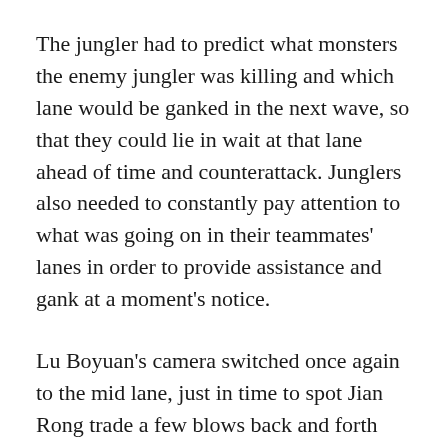The jungler had to predict what monsters the enemy jungler was killing and which lane would be ganked in the next wave, so that they could lie in wait at that lane ahead of time and counterattack. Junglers also needed to constantly pay attention to what was going on in their teammates' lanes in order to provide assistance and gank at a moment's notice.
Lu Boyuan's camera switched once again to the mid lane, just in time to spot Jian Rong trade a few blows back and forth with Savior, successfully consuming a bit of Savior's health. After gaining the advantage, Jian Rong didn't forget to proficiently flash TTC's team logo.